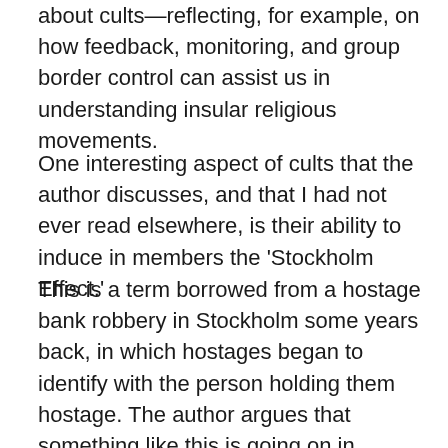about cults—reflecting, for example, on how feedback, monitoring, and group border control can assist us in understanding insular religious movements.
One interesting aspect of cults that the author discusses, and that I had not ever read elsewhere, is their ability to induce in members the 'Stockholm Effect.'
This is a term borrowed from a hostage bank robbery in Stockholm some years back, in which hostages began to identify with the person holding them hostage. The author argues that something like this is going on in charismatic religious movements, where initiates are both threatened with abuse and derive their emotional comfort from the same source. People are made to feel abandoned or damned if they stray from the group's norms, but are given family comfort and safety if they adhere closely to the